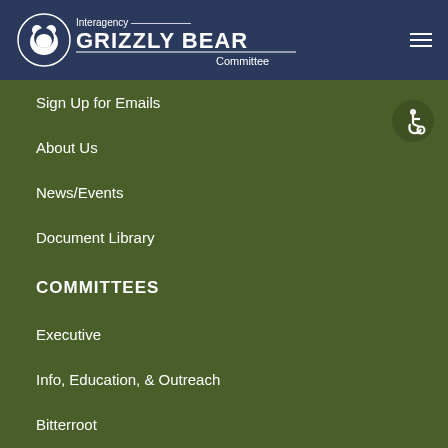[Figure (logo): Interagency Grizzly Bear Committee logo with bear silhouette and text]
Sign Up for Emails
About Us
News/Events
Document Library
COMMITTEES
Executive
Info, Education, & Outreach
Bitterroot
North Cascades
Northern Continental Divide
Selkirk/Cabinet-Yaak